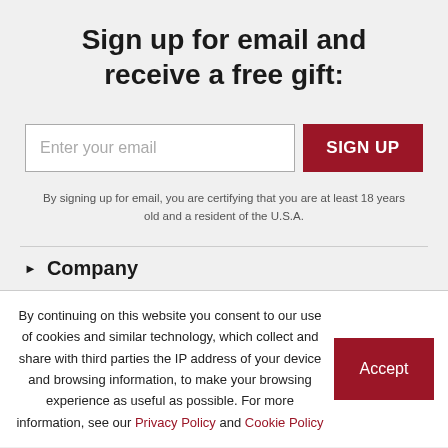Sign up for email and receive a free gift:
Enter your email
SIGN UP
By signing up for email, you are certifying that you are at least 18 years old and a resident of the U.S.A.
Company
By continuing on this website you consent to our use of cookies and similar technology, which collect and share with third parties the IP address of your device and browsing information, to make your browsing experience as useful as possible. For more information, see our Privacy Policy and Cookie Policy
Accept